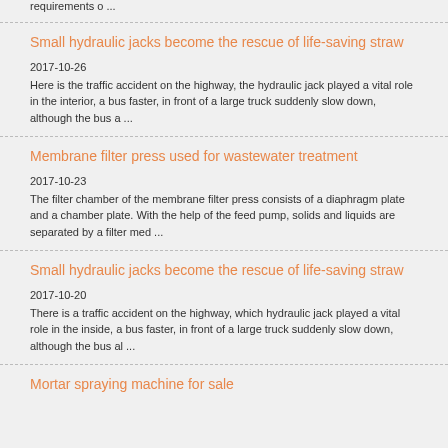requirements o ...
Small hydraulic jacks become the rescue of life-saving straw
2017-10-26
Here is the traffic accident on the highway, the hydraulic jack played a vital role in the interior, a bus faster, in front of a large truck suddenly slow down, although the bus a ...
Membrane filter press used for wastewater treatment
2017-10-23
The filter chamber of the membrane filter press consists of a diaphragm plate and a chamber plate. With the help of the feed pump, solids and liquids are separated by a filter med ...
Small hydraulic jacks become the rescue of life-saving straw
2017-10-20
There is a traffic accident on the highway, which hydraulic jack played a vital role in the inside, a bus faster, in front of a large truck suddenly slow down, although the bus al ...
Mortar spraying machine for sale